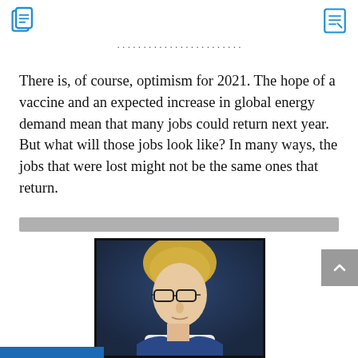Page header with navigation icons
There is, of course, optimism for 2021. The hope of a vaccine and an expected increase in global energy demand mean that many jobs could return next year. But what will those jobs look like? In many ways, the jobs that were lost might not be the same ones that return.
[Figure (photo): Portrait photo of a man with blonde hair, glasses, wearing a blue suit jacket, against a dark blue background]